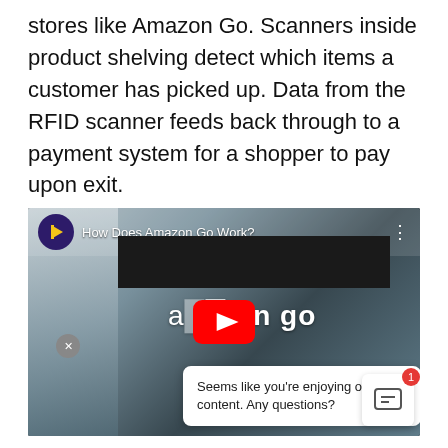stores like Amazon Go. Scanners inside product shelving detect which items a customer has picked up. Data from the RFID scanner feeds back through to a payment system for a shopper to pay upon exit.
[Figure (screenshot): Embedded YouTube video thumbnail showing an Amazon Go store sign with the YouTube play button overlay. Video title: 'How Does Amazon Go Work?' with a channel icon. A chat popup is visible at the bottom saying 'Seems like you’re enjoying our blog content. Any questions?']